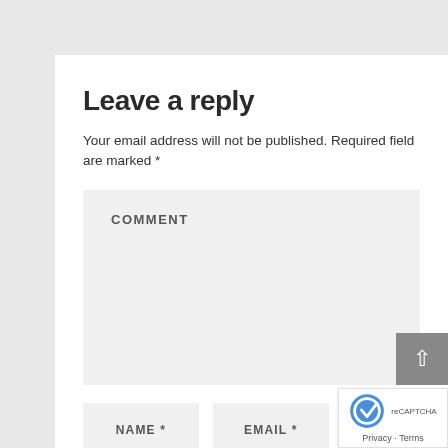Leave a reply
Your email address will not be published. Required fields are marked *
COMMENT
NAME *
EMAIL *
WE
Please notify me of new blog posts!